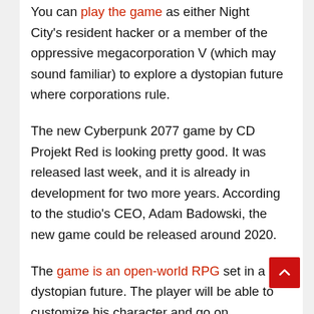You can play the game as either Night City's resident hacker or a member of the oppressive megacorporation V (which may sound familiar) to explore a dystopian future where corporations rule.
The new Cyberpunk 2077 game by CD Projekt Red is looking pretty good. It was released last week, and it is already in development for two more years. According to the studio's CEO, Adam Badowski, the new game could be released around 2020.
The game is an open-world RPG set in a dystopian future. The player will be able to customize his character and go on missions. It looks like the game has an interesting setting, but it is hard to say whether it will be a good game or not until we get to see it for ourselves.